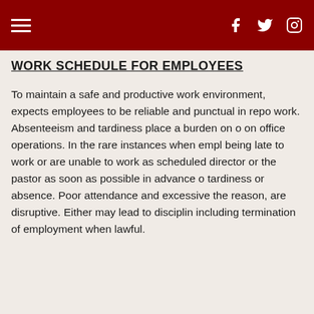WORK SCHEDULE FOR EMPLOYEES
To maintain a safe and productive work environment, expects employees to be reliable and punctual in reporting to work. Absenteeism and tardiness place a burden on other employees and on office operations. In the rare instances when employees anticipate being late to work or are unable to work as scheduled, notify the director or the pastor as soon as possible in advance of the anticipated tardiness or absence. Poor attendance and excessive tardiness, regardless of the reason, are disruptive. Either may lead to disciplinary action, including termination of employment when lawful.